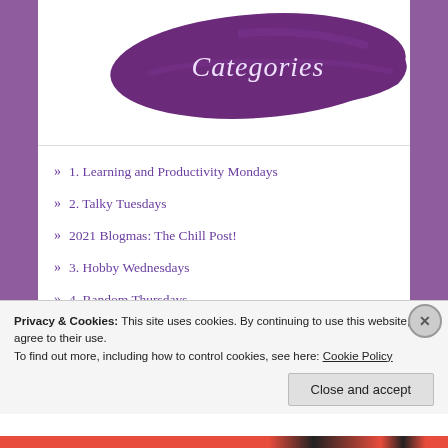[Figure (illustration): Purple brushstroke paint splash with cursive 'Categories' text written in white/light color on top, centered at the top of the page.]
» 1. Learning and Productivity Mondays
» 2. Talky Tuesdays
» 2021 Blogmas: The Chill Post!
» 3. Hobby Wednesdays
» 4. Random Thursdays
Privacy & Cookies: This site uses cookies. By continuing to use this website, you agree to their use.
To find out more, including how to control cookies, see here: Cookie Policy
Close and accept